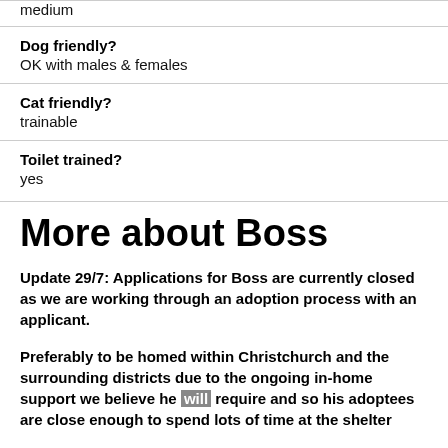medium
Dog friendly?
OK with males & females
Cat friendly?
trainable
Toilet trained?
yes
More about Boss
Update 29/7: Applications for Boss are currently closed as we are working through an adoption process with an applicant.
Preferably to be homed within Christchurch and the surrounding districts due to the ongoing in-home support we believe he will require and so his adoptees are close enough to spend lots of time at the shelter